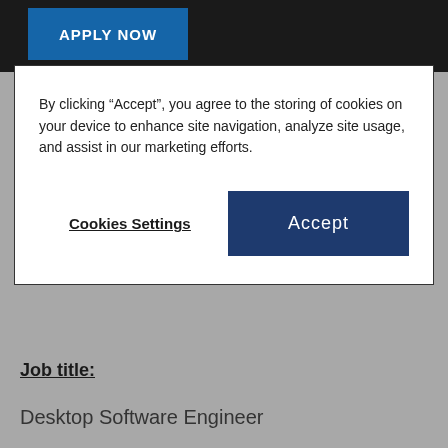[Figure (screenshot): APPLY NOW button on dark background header bar]
By clicking “Accept”, you agree to the storing of cookies on your device to enhance site navigation, analyze site usage, and assist in our marketing efforts.
Cookies Settings
Accept
Job title:
Desktop Software Engineer